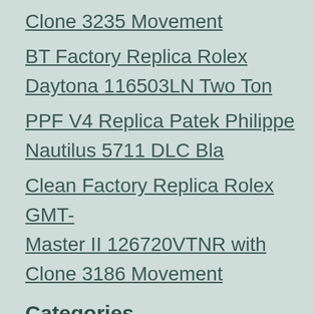Clone 3235 Movement
BT Factory Replica Rolex Daytona 116503LN Two Ton
PPF V4 Replica Patek Philippe Nautilus 5711 DLC Bla
Clean Factory Replica Rolex GMT-Master II 126720VTNR with Clone 3186 Movement
Categories
Audemars Piguet
Blancpain
Breitling
Bvlgari
Cartier
Chopard